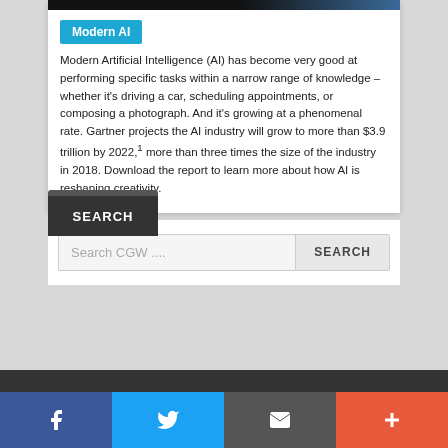[Figure (photo): Dark banner image strip at top of card showing a dark to blue gradient, suggesting a photo of a person or technology scene]
Modern AI
Modern Artificial Intelligence (AI) has become very good at performing specific tasks within a narrow range of knowledge – whether it's driving a car, scheduling appointments, or composing a photograph. And it's growing at a phenomenal rate. Gartner projects the AI industry will grow to more than $3.9 trillion by 2022,1 more than three times the size of the industry in 2018. Download the report to learn more about how AI is reshaping creativity.
SEARCH
Search CGW ....
SEARCH